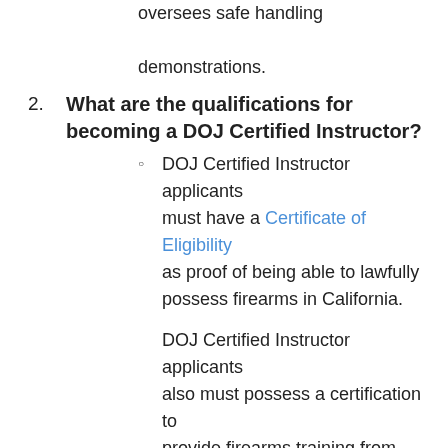oversees safe handling demonstrations.
2. What are the qualifications for becoming a DOJ Certified Instructor?
DOJ Certified Instructor applicants must have a Certificate of Eligibility as proof of being able to lawfully possess firearms in California.
DOJ Certified Instructor applicants also must possess a certification to provide firearms training from one of the entities identified in Penal Code section 31635.